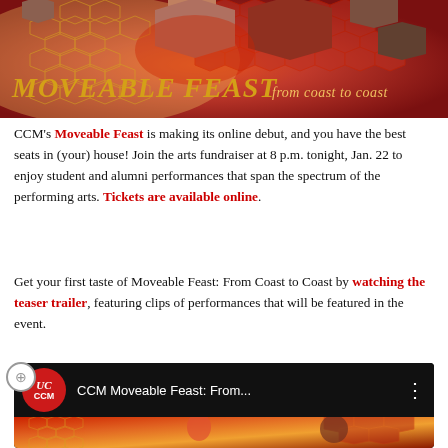[Figure (illustration): Moveable Feast from coast to coast banner with honeycomb pattern, hexagonal photo frames showing performers, red/orange/gold gradient background, and stylized title text.]
CCM's Moveable Feast is making its online debut, and you have the best seats in (your) house! Join the arts fundraiser at 8 p.m. tonight, Jan. 22 to enjoy student and alumni performances that span the spectrum of the performing arts. Tickets are available online.
Get your first taste of Moveable Feast: From Coast to Coast by watching the teaser trailer, featuring clips of performances that will be featured in the event.
[Figure (screenshot): YouTube video player showing CCM Moveable Feast: From... with CCM logo (red circle with UC CCM text), three-dot menu, and thumbnail showing performers in hexagonal frames on orange/red background.]